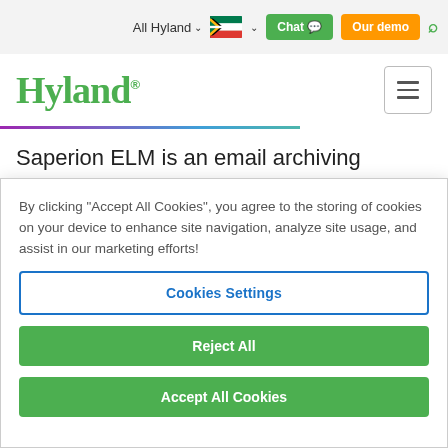All Hyland | Chat | Our demo | [Search]
[Figure (logo): Hyland logo in green with hamburger menu button on right]
Saperion ELM is an email archiving solution to safely store personal mailboxes and/or journaling mailbox
By clicking "Accept All Cookies", you agree to the storing of cookies on your device to enhance site navigation, analyze site usage, and assist in our marketing efforts!
Cookies Settings
Reject All
Accept All Cookies